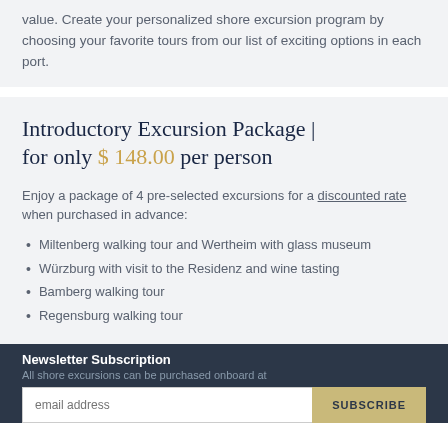value. Create your personalized shore excursion program by choosing your favorite tours from our list of exciting options in each port.
Introductory Excursion Package | for only $ 148.00 per person
Enjoy a package of 4 pre-selected excursions for a discounted rate when purchased in advance:
Miltenberg walking tour and Wertheim with glass museum
Würzburg with visit to the Residenz and wine tasting
Bamberg walking tour
Regensburg walking tour
Newsletter Subscription — All shore excursions can be purchased onboard at — email address — SUBSCRIBE